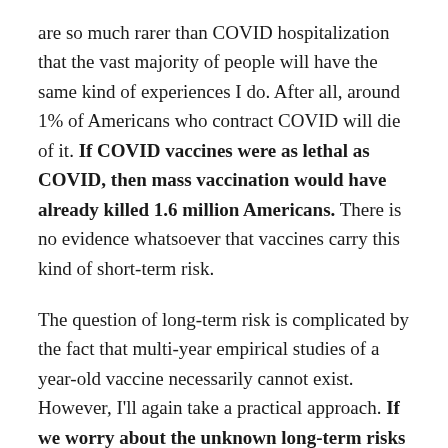are so much rarer than COVID hospitalization that the vast majority of people will have the same kind of experiences I do. After all, around 1% of Americans who contract COVID will die of it. If COVID vaccines were as lethal as COVID, then mass vaccination would have already killed 1.6 million Americans. There is no evidence whatsoever that vaccines carry this kind of short-term risk.
The question of long-term risk is complicated by the fact that multi-year empirical studies of a year-old vaccine necessarily cannot exist. However, I'll again take a practical approach. If we worry about the unknown long-term risks of the vaccines, then we should also worry about the long-term risks of COVID itself. After all, there are no multi-year